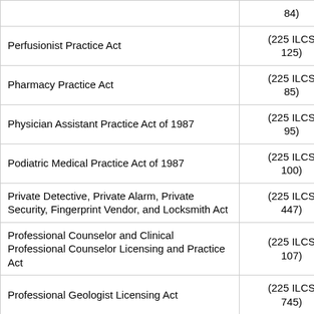| Act Name | Citation |
| --- | --- |
|  | 84) |
| Perfusionist Practice Act | (225 ILCS 125) |
| Pharmacy Practice Act | (225 ILCS 85) |
| Physician Assistant Practice Act of 1987 | (225 ILCS 95) |
| Podiatric Medical Practice Act of 1987 | (225 ILCS 100) |
| Private Detective, Private Alarm, Private Security, Fingerprint Vendor, and Locksmith Act | (225 ILCS 447) |
| Professional Counselor and Clinical Professional Counselor Licensing and Practice Act | (225 ILCS 107) |
| Professional Geologist Licensing Act | (225 ILCS 745) |
| Professional Limited Liability Company Act | (805 ILCS 185) |
| Professional Service Corporation Act | (805 ILCS 10) |
| Registered Surgical Assistant and Registered Surgical | (225 ILCS |